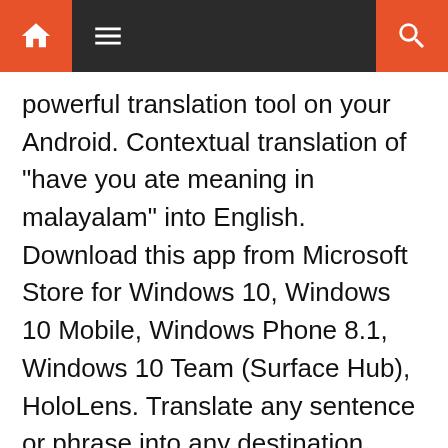Navigation bar with home, menu, and search icons
powerful translation tool on your Android. Contextual translation of "have you ate meaning in malayalam" into English. Download this app from Microsoft Store for Windows 10, Windows 10 Mobile, Windows Phone 8.1, Windows 10 Team (Surface Hub), HoloLens. Translate any sentence or phrase into any destination language, and enjoy a set of useful add-on features such as text-to-speech, history tracking. Find disbudding translation meaning in Malayalam with definition from english Malayalam dictionary. See screenshots, read the latest customer reviews, and compare ratings for Malayalam Dictionary. As you may know, millions of English speaking people in India and around the world are looking for English to Malayalam online dictionary, So, here at IndiaDict, we proud to provide you the best and free English